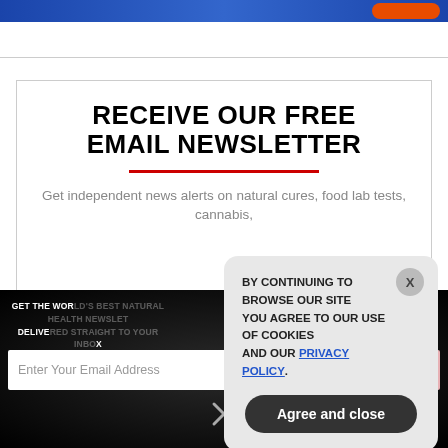[Figure (screenshot): Top blue banner with orange button on right side]
RECEIVE OUR FREE EMAIL NEWSLETTER
Get independent news alerts on natural cures, food lab tests, cannabis,
GET THE WORLD'S BEST NATURAL HEALTH NEWSLETTER DELIVERED STRAIGHT TO YOUR INBOX
Enter Your Email Address
SUBSCRIBE
BY CONTINUING TO BROWSE OUR SITE YOU AGREE TO OUR USE OF COOKIES AND OUR PRIVACY POLICY.
Agree and close